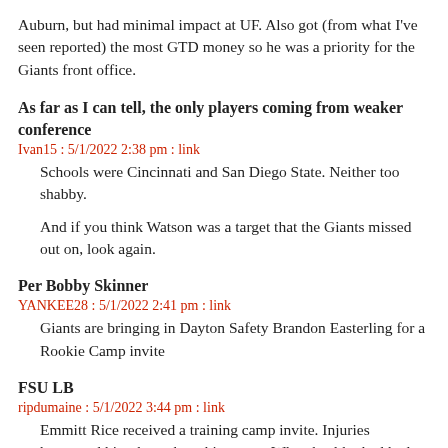Auburn, but had minimal impact at UF. Also got (from what I've seen reported) the most GTD money so he was a priority for the Giants front office.
As far as I can tell, the only players coming from weaker conference
Ivan15 : 5/1/2022 2:38 pm : link
Schools were Cincinnati and San Diego State. Neither too shabby.
And if you think Watson was a target that the Giants missed out on, look again.
Per Bobby Skinner
YANKEE28 : 5/1/2022 2:41 pm : link
Giants are bringing in Dayton Safety Brandon Easterling for a Rookie Camp invite
FSU LB
ripdumaine : 5/1/2022 3:44 pm : link
Emmitt Rice received a training camp invite. Injuries hampered him throughout his career. When healthy had had a productive year. Key words when healthy.
Per Bobby Skinner